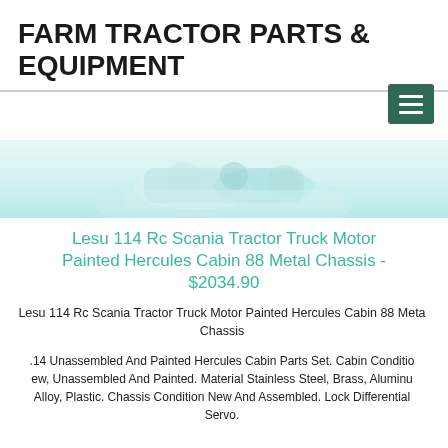FARM TRACTOR PARTS & EQUIPMENT
[Figure (photo): Partial view of a product image showing metallic/chrome parts with teal/cyan reflections against white background]
Lesu 114 Rc Scania Tractor Truck Motor Painted Hercules Cabin 88 Metal Chassis - $2034.90
Lesu 114 Rc Scania Tractor Truck Motor Painted Hercules Cabin 88 Metal Chassis
.14 Unassembled And Painted Hercules Cabin Parts Set. Cabin Condition ew, Unassembled And Painted. Material Stainless Steel, Brass, Aluminum Alloy, Plastic. Chassis Condition New And Assembled. Lock Differential Servo.